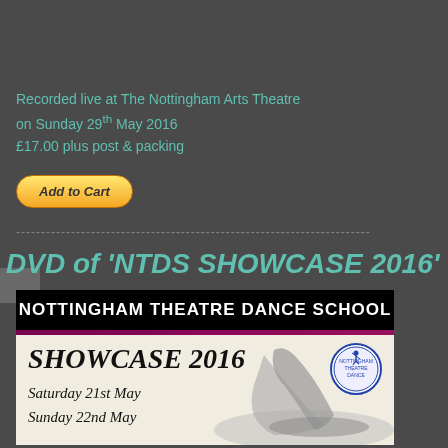Recorded live at The Nottingham Arts Theatre on Sunday 29th May 2016 £17.00 plus post & packing
[Figure (other): Add to Cart button (PayPal styled yellow gradient button)]
-----------------------------------------------------------------------
DVD of 'NTDS SHOWCASE 2016'
[Figure (illustration): Nottingham Theatre Dance School Showcase 2016 promotional poster/DVD cover showing the school logo header in black with white text, purple bar, and a sepia/black-and-white image of a dancer in a pose, with italic text 'SHOWCASE 2016', 'Saturday 21st May', 'Sunday 22nd May', and a blue circular dance school badge logo]